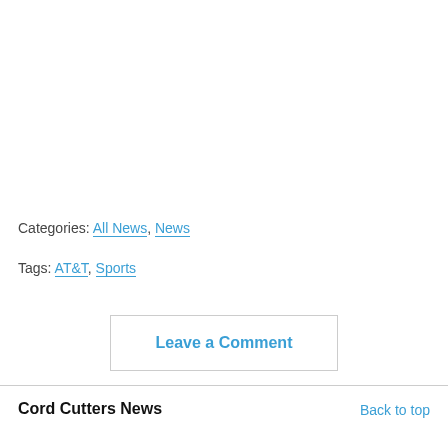Categories: All News, News
Tags: AT&T, Sports
Leave a Comment
Cord Cutters News
Back to top